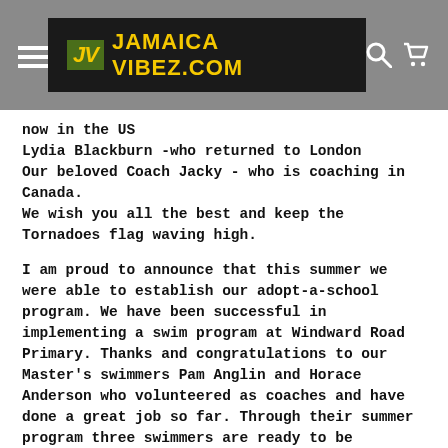JAMAICA VIBEZ.COM
now in the US
Lydia Blackburn -who returned to London
Our beloved Coach Jacky - who is coaching in Canada.
We wish you all the best and keep the Tornadoes flag waving high.
I am proud to announce that this summer we were able to establish our adopt-a-school program. We have been successful in implementing a swim program at Windward Road Primary. Thanks and congratulations to our Master's swimmers Pam Anglin and Horace Anderson who volunteered as coaches and have done a great job so far. Through their summer program three swimmers are ready to be incorporated into Tornadoes. We will send out more information about this program as we still seek financial support, as well as, other support in the way of swimsuits